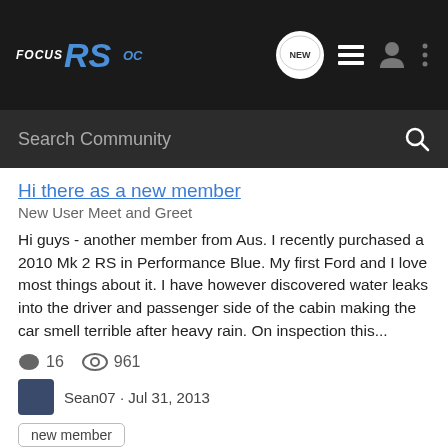Focus RS OC — navigation bar with NEW, list, person, and dots icons
Search Community
Hi there as a new member
New User Meet and Greet
Hi guys - another member from Aus. I recently purchased a 2010 Mk 2 RS in Performance Blue. My first Ford and I love most things about it. I have however discovered water leaks into the driver and passenger side of the cabin making the car smell terrible after heavy rain. On inspection this...
16   961   Sean07 · Jul 31, 2013
new member
Buying a 420bhp Focus RS Mk 2 in July. Advice please!